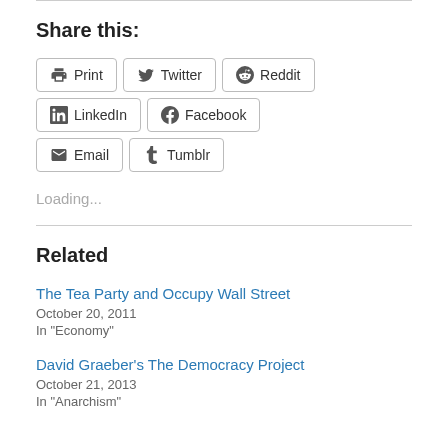Share this:
Print
Twitter
Reddit
LinkedIn
Facebook
Email
Tumblr
Loading...
Related
The Tea Party and Occupy Wall Street
October 20, 2011
In "Economy"
David Graeber's The Democracy Project
October 21, 2013
In "Anarchism"